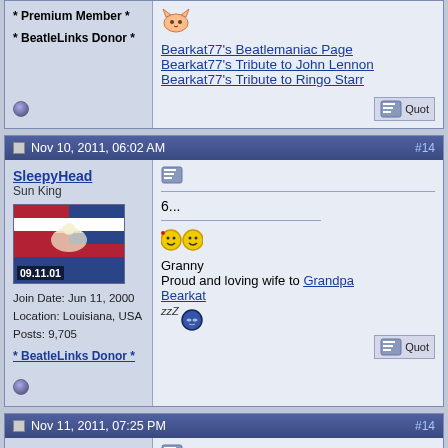* Premium Member *
* BeatleLinks Donor *
Bearkat77's Beatlemaniac Page
Bearkat77's Tribute to John Lennon
Bearkat77's Tribute to Ringo Starr
Nov 10, 2011, 06:02 AM  #14
SleepyHead
Sun King
Join Date: Jun 11, 2000
Location: Louisiana, USA
Posts: 9,705
* BeatleLinks Donor *
6...
Granny
Proud and loving wife to Grandpa Bearkat
Nov 11, 2011, 07:25 PM  #14
bearkat77
Administrator